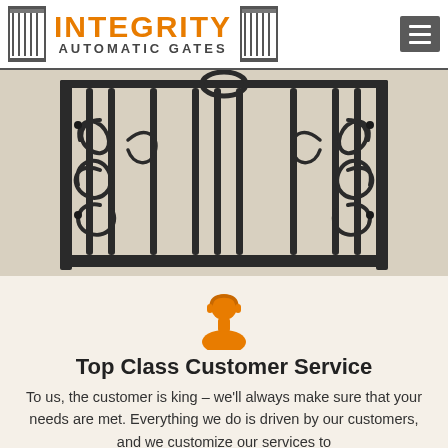[Figure (logo): Integrity Automatic Gates logo with gate icons on left and right, orange INTEGRITY text, gray AUTOMATIC GATES text, and hamburger menu button]
[Figure (photo): Ornamental wrought iron gate with decorative scroll work and vertical bars, photographed against a light background]
[Figure (illustration): Orange customer service / person icon (headset user silhouette)]
Top Class Customer Service
To us, the customer is king – we'll always make sure that your needs are met. Everything we do is driven by our customers, and we customize our services to